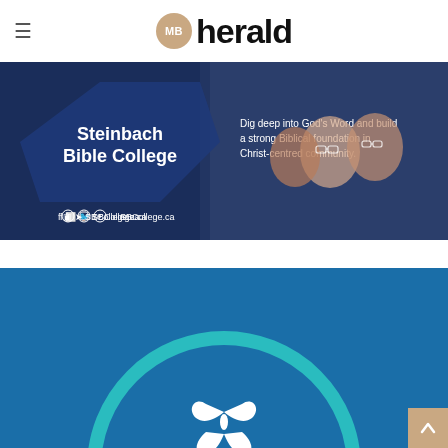MB herald
[Figure (photo): Steinbach Bible College advertisement banner showing three smiling students and text: 'Steinbach Bible College - Dig deep into God's Word and build a strong Biblical foundation in Christ-centred community. SBCollege.ca']
[Figure (illustration): Blue background advertisement with a teal arch/circle design and a white butterfly or flower logo icon at the bottom center]